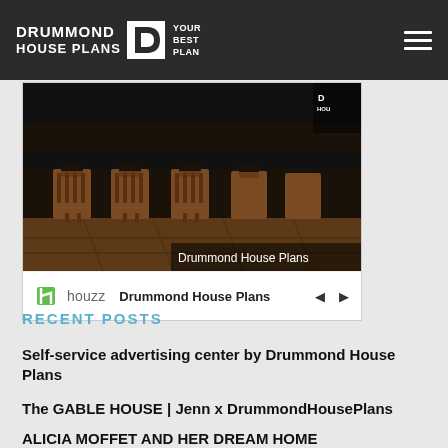DRUMMOND HOUSE PLANS — YOUR BEST PLAN
[Figure (screenshot): Houzz widget showing an interior photo of bar stools at a kitchen counter with a caption 'Drummond House Plans', and a white bar below with the Houzz logo, 'Drummond House Plans' label, and navigation arrows.]
RECENT POSTS
Self-service advertising center by Drummond House Plans
The GABLE HOUSE | Jenn x DrummondHousePlans
ALICIA MOFFET AND HER DREAM HOME